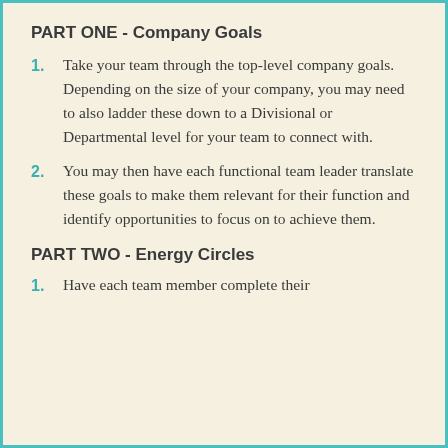PART ONE - Company Goals
Take your team through the top-level company goals. Depending on the size of your company, you may need to also ladder these down to a Divisional or Departmental level for your team to connect with.
You may then have each functional team leader translate these goals to make them relevant for their function and identify opportunities to focus on to achieve them.
PART TWO - Energy Circles
Have each team member complete their